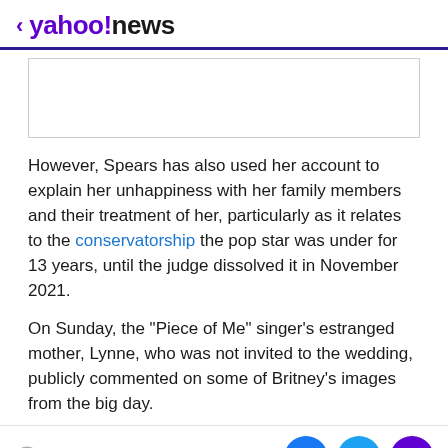< yahoo!news
[Figure (other): Advertisement placeholder box (empty gray-bordered rectangle)]
However, Spears has also used her account to explain her unhappiness with her family members and their treatment of her, particularly as it relates to the conservatorship the pop star was under for 13 years, until the judge dissolved it in November 2021.
On Sunday, the "Piece of Me" singer's estranged mother, Lynne, who was not invited to the wedding, publicly commented on some of Britney's images from the big day.
View comments